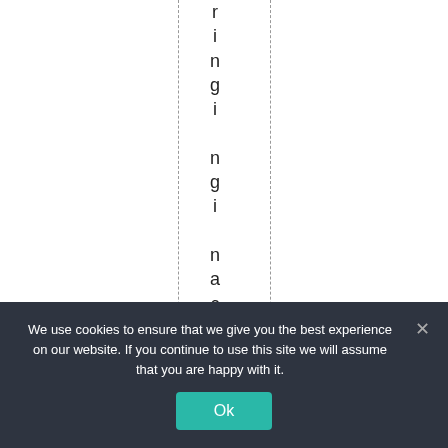ringing in a carbon tr
We use cookies to ensure that we give you the best experience on our website. If you continue to use this site we will assume that you are happy with it.